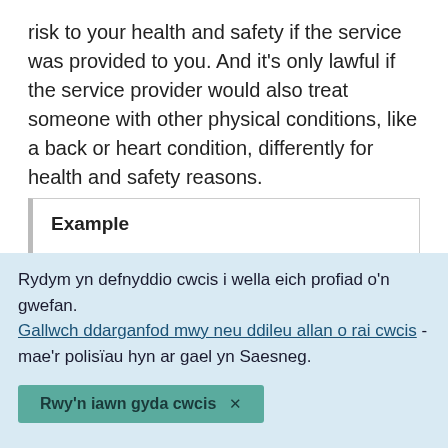risk to your health and safety if the service was provided to you. And it's only lawful if the service provider would also treat someone with other physical conditions, like a back or heart condition, differently for health and safety reasons.
Example
The owner of a fair ground bumper-car ride refuses to allow you to go on the ride because you're pregnant. They have a notice stating that
Rydym yn defnyddio cwcis i wella eich profiad o'n gwefan. Gallwch ddarganfod mwy neu ddileu allan o rai cwcis - mae'r polisïau hyn ar gael yn Saesneg.
Rwy'n iawn gyda cwcis ×